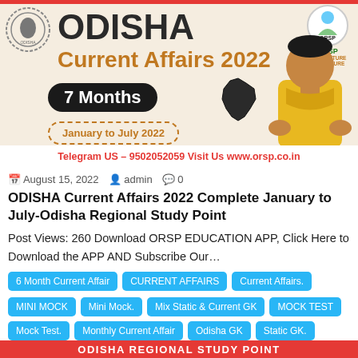[Figure (illustration): Promotional banner for Odisha Current Affairs 2022, 7 Months (January to July 2022) by ORSP. Features title text, a stamp icon, ORSP logo, map of Odisha, a person in yellow sweater, and contact details: Telegram US – 9502052059 Visit Us www.orsp.co.in]
August 15, 2022  admin  0
ODISHA Current Affairs 2022 Complete January to July-Odisha Regional Study Point
Post Views: 260 Download ORSP EDUCATION APP, Click Here to Download the APP AND Subscribe Our…
6 Month Current Affair
CURRENT AFFAIRS
Current Affairs.
MINI MOCK
Mini Mock.
Mix Static & Current GK
MOCK TEST
Mock Test.
Monthly Current Affair
Odisha GK
Static GK.
ODISHA REGIONAL STUDY POINT